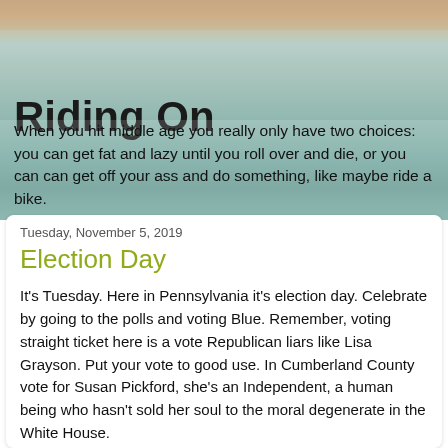[Figure (photo): Hero banner image of a bicycle seat and frame in teal/green color with blurred background]
Riding On
When you hit middle age you really only have two choices: you can get fat and lazy until you roll over and die, or you can can get off your ass and do something, like maybe ride a bike.
Tuesday, November 5, 2019
Election Day
It's Tuesday.  Here in Pennsylvania it's election day.  Celebrate by going to the polls and voting Blue.  Remember, voting straight ticket here is a vote Republican liars like Lisa Grayson.  Put your vote to good use.  In Cumberland County vote for Susan Pickford, she's an Independent, a human being who hasn't sold her soul to the moral degenerate in the White House.
While I was riding my bike last evening, the chain popped off.  This is an easy fix, but when something like that